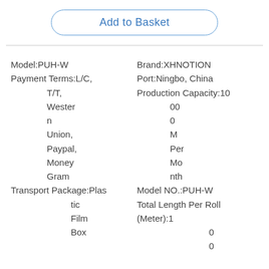Add to Basket
Model:PUH-W
Payment Terms:L/C,
T/T,
Western
Union,
Paypal,
Money
Gram
Transport Package:Plastic
Film
Box
Brand:XHNOTION
Port:Ningbo, China
Production Capacity:10
00
0
M
Per
Mo
nth
Model NO.:PUH-W
Total Length Per Roll (Meter):1
0
0